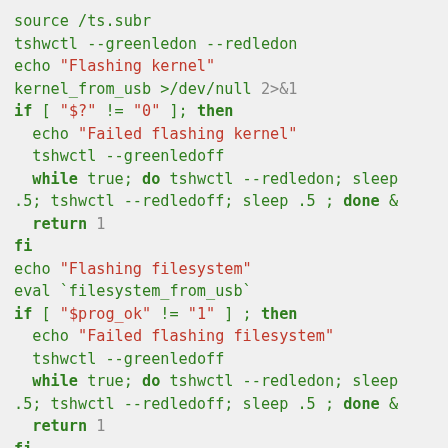source /ts.subr
tshwctl --greenledon --redledon
echo "Flashing kernel"
kernel_from_usb >/dev/null 2>&1
if [ "$?" != "0" ]; then
  echo "Failed flashing kernel"
  tshwctl --greenledoff
  while true; do tshwctl --redledon; sleep
.5; tshwctl --redledoff; sleep .5 ; done &
  return 1
fi
echo "Flashing filesystem"
eval `filesystem_from_usb`
if [ "$prog_ok" != "1" ] ; then
  echo "Failed flashing filesystem"
  tshwctl --greenledoff
  while true; do tshwctl --redledon; sleep
.5; tshwctl --redledoff; sleep .5 ; done &
  return 1
fi